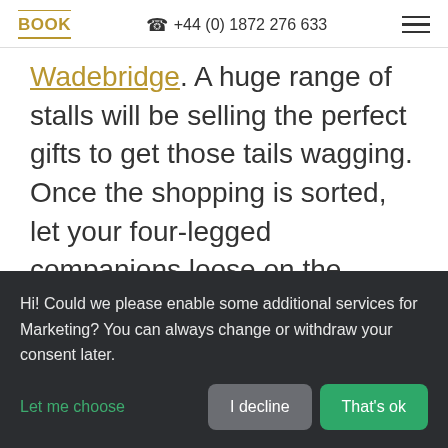BOOK   +44 (0) 1872 276 633
Wadebridge. A huge range of stalls will be selling the perfect gifts to get those tails wagging. Once the shopping is sorted, let your four-legged companions loose on the Christmas
Hi! Could we please enable some additional services for Marketing? You can always change or withdraw your consent later.
Let me choose   I decline   That's ok